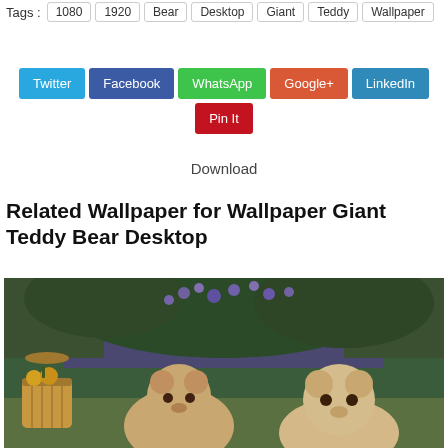Tags : 1080  1920  Bear  Desktop  Giant  Teddy  Wallpaper
Twitter  Facebook  WhatsApp  Google+  LinkedIn  Pin It
Download
Related Wallpaper for Wallpaper Giant Teddy Bear Desktop
[Figure (photo): Two teddy bears outdoors with purple flowers and a wicker basket in the background]